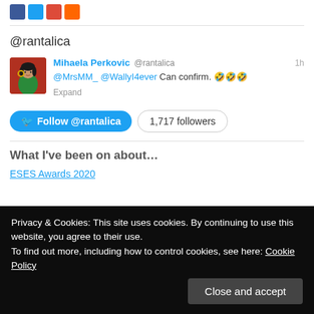[Figure (logo): Social media share icons: Facebook (blue), Twitter (light blue), Google+ (red), RSS/YouTube (orange)]
@rantalica
[Figure (screenshot): Tweet by Mihaela Perkovic @rantalica: '@MrsMM_ @WallyI4ever Can confirm. 🤣🤣🤣' with avatar image, posted 1h ago. Expand link below.]
[Figure (other): Follow @rantalica button (blue rounded) and '1,717 followers' badge]
What I've been on about…
ESES Awards 2020
Privacy & Cookies: This site uses cookies. By continuing to use this website, you agree to their use.
To find out more, including how to control cookies, see here: Cookie Policy
Close and accept